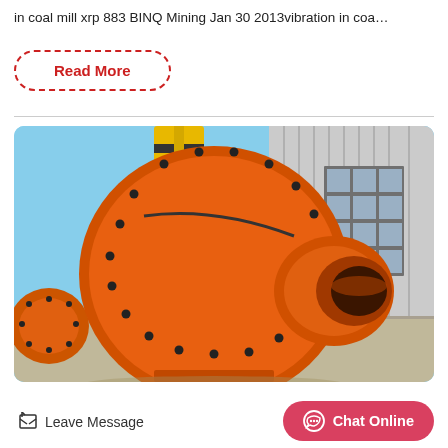in coal mill xrp 883 BINQ Mining Jan 30 2013vibration in coa…
Read More
[Figure (photo): Large orange ball mill industrial grinding machine outdoors near a building with yellow crane in background]
Leave Message
Chat Online